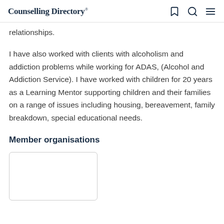Counselling Directory®
relationships.
I have also worked with clients with alcoholism and addiction problems while working for ADAS, (Alcohol and Addiction Service). I have worked with children for 20 years as a Learning Mentor supporting children and their families on a range of issues including housing, bereavement, family breakdown, special educational needs.
Member organisations
[Figure (other): Empty white box with border representing a member organisation logo placeholder]